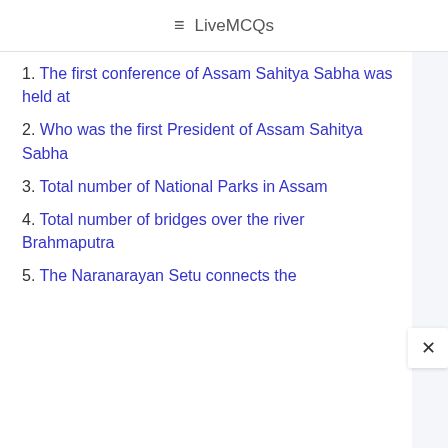≡ LiveMCQs
1. The first conference of Assam Sahitya Sabha was held at
2. Who was the first President of Assam Sahitya Sabha
3. Total number of National Parks in Assam
4. Total number of bridges over the river Brahmaputra
5. The Naranarayan Setu connects the